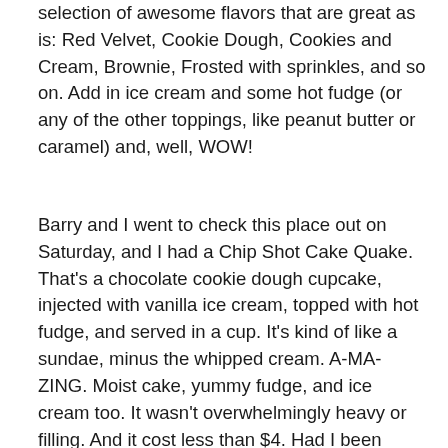selection of awesome flavors that are great as is: Red Velvet, Cookie Dough, Cookies and Cream, Brownie, Frosted with sprinkles, and so on. Add in ice cream and some hot fudge (or any of the other toppings, like peanut butter or caramel) and, well, WOW!
Barry and I went to check this place out on Saturday, and I had a Chip Shot Cake Quake. That's a chocolate cookie dough cupcake, injected with vanilla ice cream, topped with hot fudge, and served in a cup. It's kind of like a sundae, minus the whipped cream. A-MA-ZING. Moist cake, yummy fudge, and ice cream too. It wasn't overwhelmingly heavy or filling. And it cost less than $4. Had I been alone, I might have had a second. (Or a third.)
One curiosity was why there was not a bigger crowd waiting for their own Shot Cakes. Maybe we were there at an off time (a slow one) or this recipe interest...